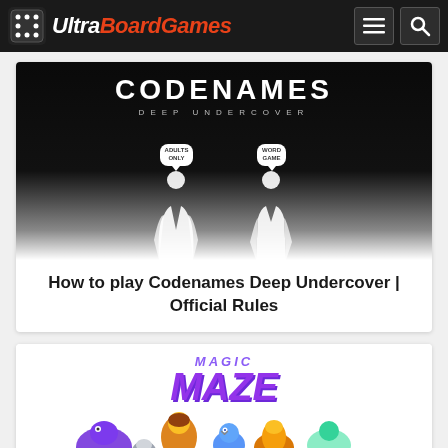UltraBoardGames
[Figure (screenshot): Codenames Deep Undercover board game card image with black background, two silhouettes, and speech bubbles saying ADULTS ONLY and WORD GAME]
How to play Codenames Deep Undercover | Official Rules
[Figure (screenshot): Magic Maze board game card image showing purple Magic Maze logo text and colorful fantasy character illustrations]